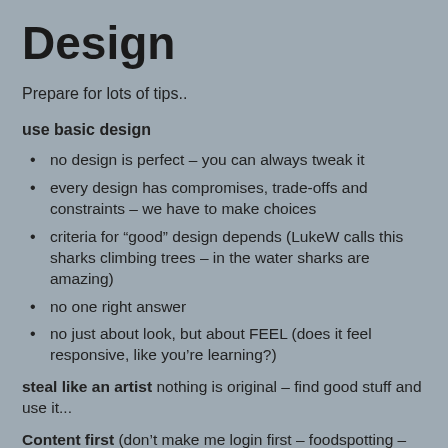Design
Prepare for lots of tips..
use basic design
no design is perfect – you can always tweak it
every design has compromises, trade-offs and constraints – we have to make choices
criteria for “good” design depends (LukeW calls this sharks climbing trees – in the water sharks are amazing)
no one right answer
no just about look, but about FEEL (does it feel responsive, like you’re learning?)
steal like an artist nothing is original – find good stuff and use it...
Content first (don’t make me login first – foodspotting – you